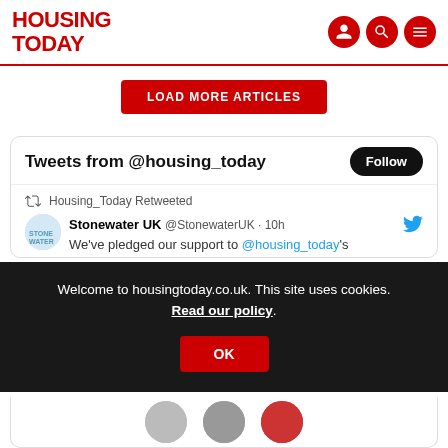HOUSING TODAY
LOAD MORE ARTICLES
Tweets from @housing_today
Follow
Housing_Today Retweeted
Stonewater UK @StonewaterUK · 10h
We've pledged our support to @housing_today's
Welcome to housingtoday.co.uk. This site uses cookies. Read our policy.
OK